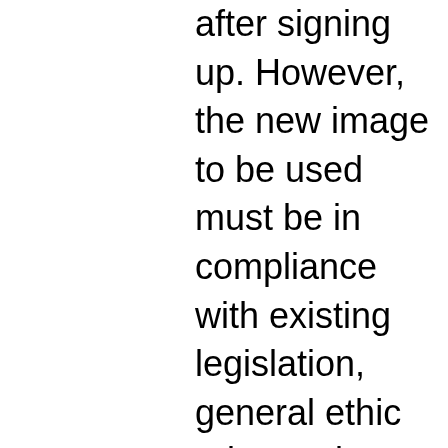after signing up. However, the new image to be used must be in compliance with existing legislation, general ethic rules and